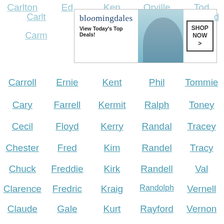Carleton, Ed, Ken, Orville, Tod
[Figure (screenshot): Bloomingdale's advertisement banner: 'View Today's Top Deals! SHOP NOW >' with fashion model wearing large hat]
Carlton, ..., ..., d
Carm...
Carroll, Ernie, Kent, Phil, Tommie
Cary, Farrell, Kermit, Ralph, Toney
Cecil, Floyd, Kerry, Randal, Tracey
Chester, Fred, Kim, Randel, Tracy
Chuck, Freddie, Kirk, Randell, Val
Clarence, Fredric, Kraig, Randolph, Vernell
Claude, Gale, Kurt, Rayford, Vernon
...(partial row)
We use cookies on our website to give you the most relevant experience by remembering your preferences and repeat visits. By clicking “Accept”, you consent to the use of ALL the cookies.
Do not sell my personal information.
[Figure (screenshot): CLOSE button and MAC cosmetics advertisement with lipsticks and 'SHOP NOW' button]